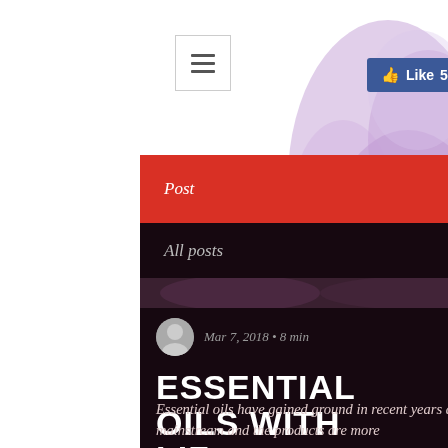[Figure (screenshot): Facebook Like button showing 574 likes, blue background with thumbs up icon]
[Figure (screenshot): Hamburger menu icon button, white background with border and three horizontal lines]
Post   🔍   Sign Up
All posts   ∨
ESSENTIAL OILS WITH LIZ.
Mar 7, 2018 • 8 min
Essential oils have gained ground in recent years as their use has become more mainstream and the products are more